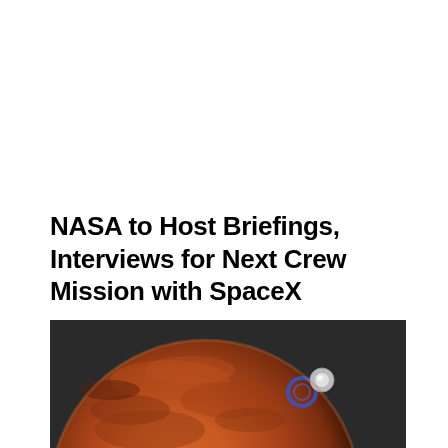NASA to Host Briefings, Interviews for Next Crew Mission with SpaceX
[Figure (photo): Photo of Mars planet against dark space background with two circular objects (possibly spacecraft or lens artifacts) visible in the upper right area of the planet surface]